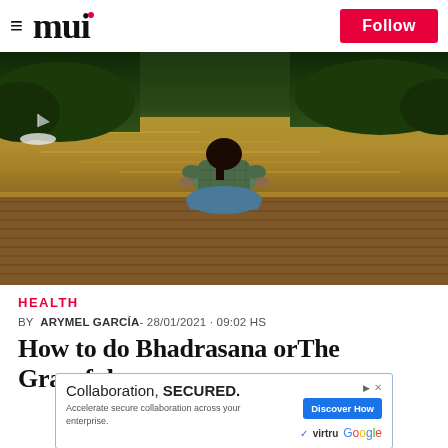mui — Follow
[Figure (photo): Person sitting in meditation pose on a wooden dock by a lake at sunset, facing away from camera, with trees and water in the background]
HEALTH
BY  ARYMEL GARCÍA- 28/01/2021 · 09:02 HS
How to do Bhadrasana orThe Graceful
[Figure (other): Advertisement banner: Collaboration, SECURED. Accelerate secure collaboration across your enterprise. Discover How. Virtru Google]